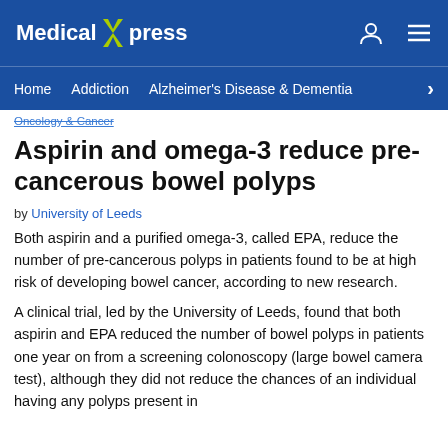Medical Xpress
Home  Addiction  Alzheimer's Disease & Dementia
Oncology & Cancer
Aspirin and omega-3 reduce pre-cancerous bowel polyps
by University of Leeds
Both aspirin and a purified omega-3, called EPA, reduce the number of pre-cancerous polyps in patients found to be at high risk of developing bowel cancer, according to new research.
A clinical trial, led by the University of Leeds, found that both aspirin and EPA reduced the number of bowel polyps in patients one year on from a screening colonoscopy (large bowel camera test), although they did not reduce the chances of an individual having any polyps present in